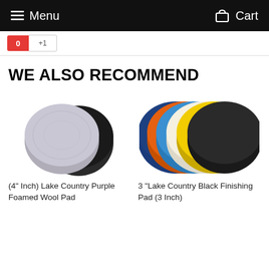Menu  Cart
WE ALSO RECOMMEND
[Figure (photo): Two polishing pads stacked: a light gray foamed wool pad on top and a black foam pad behind it]
[Figure (photo): Set of colorful polishing pads fanned out showing dark blue, orange, light blue, white/cream, yellow, and black pads]
(4" Inch) Lake Country Purple Foamed Wool Pad
3 "Lake Country Black Finishing Pad (3 Inch)